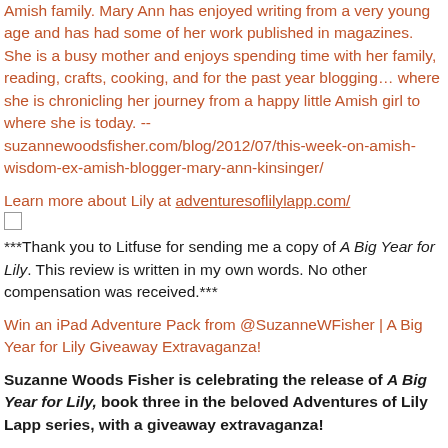Amish family. Mary Ann has enjoyed writing from a very young age and has had some of her work published in magazines. She is a busy mother and enjoys spending time with her family, reading, crafts, cooking, and for the past year blogging… where she is chronicling her journey from a happy little Amish girl to where she is today. --suzannewoodsfisher.com/blog/2012/07/this-week-on-amish-wisdom-ex-amish-blogger-mary-ann-kinsinger/
Learn more about Lily at adventuresoflilylapp.com/
***Thank you to Litfuse for sending me a copy of A Big Year for Lily. This review is written in my own words. No other compensation was received.***
Win an iPad Adventure Pack from @SuzanneWFisher | A Big Year for Lily Giveaway Extravaganza!
Suzanne Woods Fisher is celebrating the release of A Big Year for Lily, book three in the beloved Adventures of Lily Lapp series, with a giveaway extravaganza!